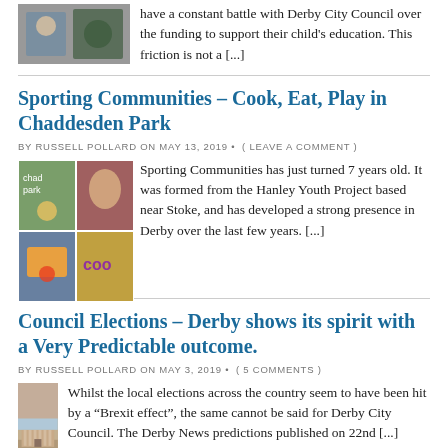have a constant battle with Derby City Council over the funding to support their child's education. This friction is not a [...]
Sporting Communities – Cook, Eat, Play in Chaddesden Park
BY RUSSELL POLLARD ON MAY 13, 2019 • ( LEAVE A COMMENT )
[Figure (photo): Collage of four photos from Chaddesden Park sporting communities event]
Sporting Communities has just turned 7 years old. It was formed from the Hanley Youth Project based near Stoke, and has developed a strong presence in Derby over the last few years. [...]
Council Elections – Derby shows its spirit with a Very Predictable outcome.
BY RUSSELL POLLARD ON MAY 3, 2019 • ( 5 COMMENTS )
[Figure (photo): Photo of a red brick public building with columns, likely Derby Council building]
Whilst the local elections across the country seem to have been hit by a “Brexit effect”, the same cannot be said for Derby City Council. The Derby News predictions published on 22nd [...]